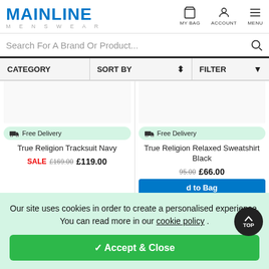[Figure (logo): Mainline Menswear logo - blue bold MAINLINE text with MENSWEAR in grey below]
[Figure (screenshot): Navigation icons: MY BAG (bag icon), ACCOUNT (person icon), MENU (hamburger icon)]
Search For A Brand Or Product...
CATEGORY   SORT BY ⬍   FILTER ▼
🚚 Free Delivery
True Religion Tracksuit Navy
SALE £169.00 £119.00
🚚 Free Delivery
True Religion Relaxed Sweatshirt Black
£95.00 £66.00
d to Bag
mage for True ew Neck : Navy
Our site uses cookies in order to create a personalised experience. You can read more in our cookie policy .
✓ Accept & Close